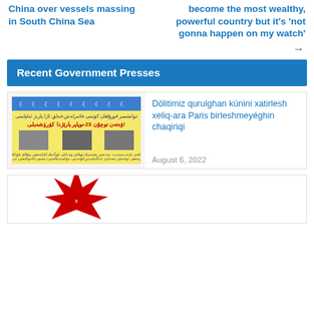China over vessels massing in South China Sea
become the most wealthy, powerful country but it's 'not gonna happen on my watch'
Recent Government Presses
[Figure (photo): Flyer with Uyghur text, blue crescent moon symbols, and historical black-and-white photos]
Dölitimiz qurulghan künini xatirlesh xeliq-ara Paris birleshmeyéghin chaqiriqi
August 6, 2022
[Figure (illustration): Red star-burst graphic with text, partially visible at bottom of page]